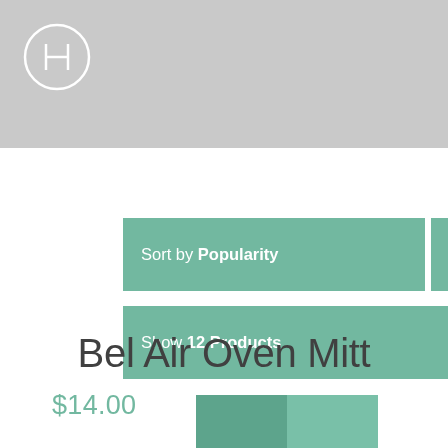[Figure (logo): Circular logo with letter H in outline style on grey header bar]
[Figure (screenshot): Green teal UI button: Sort by Popularity with icon box to the right]
[Figure (screenshot): Green teal UI button: Show 12 Products]
[Figure (other): Two adjacent color swatches in teal/green shades]
Bel Air Oven Mitt
$14.00